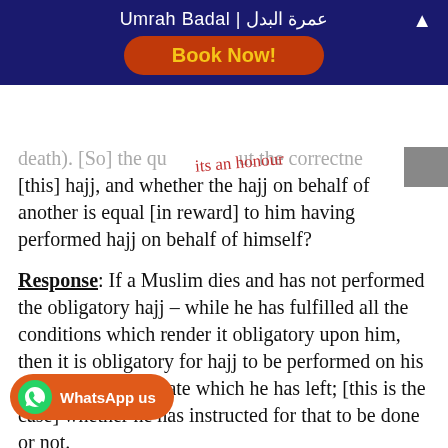Umrah Badal | عمرة البدل
Book Now!
death). [So] the qu...ut the correctne [this] hajj, and whether the hajj on behalf of another is equal [in reward] to him having performed hajj on behalf of himself?
Response: If a Muslim dies and has not performed the obligatory hajj – while he has fulfilled all the conditions which render it obligatory upon him, then it is obligatory for hajj to be performed on his behalf from his estate which he has left; [this is the case] whether he has instructed for that to be done or not.
And if someone from amongst those who are qualified to do hajj performs hajj on his (i.e. Muhammad's) behalf – and he has already performed the obligatory hajj on behalf of himself – [the hajj on behalf of Muhammad] is correct, and will suffice him (Muhammad) in being